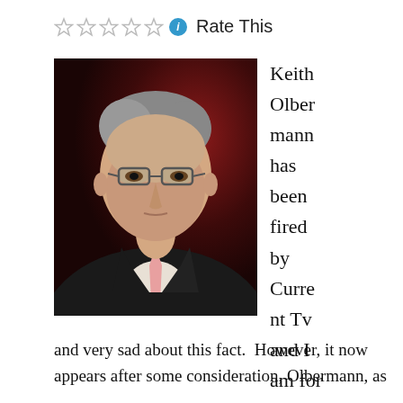Rate This
[Figure (photo): Portrait photo of Keith Olbermann, a middle-aged man with gray hair wearing glasses, a dark suit jacket, and a pink tie. He has a serious expression. Background is dark red/maroon studio lighting.]
Keith Olbermann has been fired by Current Tv and I am for one
and very sad about this fact.  However, it now appears after some consideration, Olbermann, as